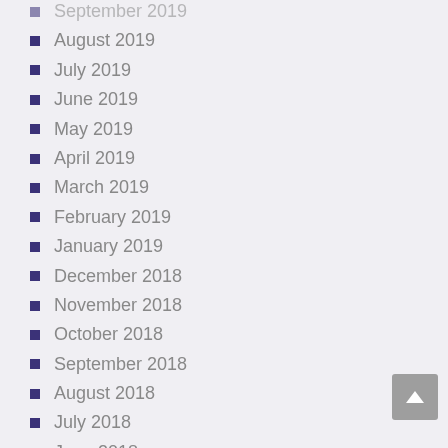September 2019
August 2019
July 2019
June 2019
May 2019
April 2019
March 2019
February 2019
January 2019
December 2018
November 2018
October 2018
September 2018
August 2018
July 2018
June 2018
May 2018
April 2018
March 2018